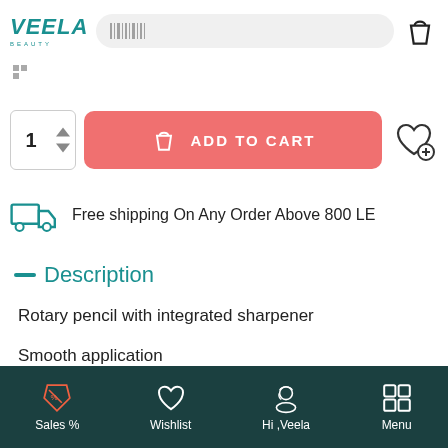VEELA BEAUTY - header with search bar and bag icon
Free shipping On Any Order Above 800 LE
Description
Rotary pencil with integrated sharpener
Smooth application
Highly pigmented
Sales % | Wishlist | Hi ,Veela | Menu